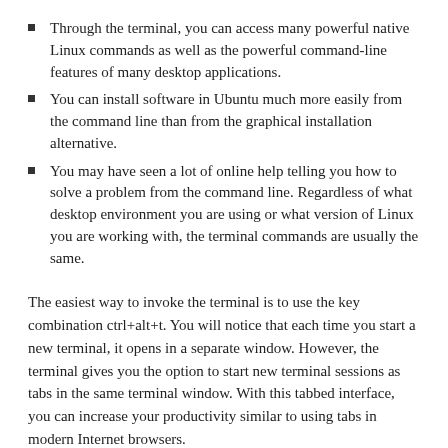Through the terminal, you can access many powerful native Linux commands as well as the powerful command-line features of many desktop applications.
You can install software in Ubuntu much more easily from the command line than from the graphical installation alternative.
You may have seen a lot of online help telling you how to solve a problem from the command line. Regardless of what desktop environment you are using or what version of Linux you are working with, the terminal commands are usually the same.
The easiest way to invoke the terminal is to use the key combination ctrl+alt+t. You will notice that each time you start a new terminal, it opens in a separate window. However, the terminal gives you the option to start new terminal sessions as tabs in the same terminal window. With this tabbed interface, you can increase your productivity similar to using tabs in modern Internet browsers.